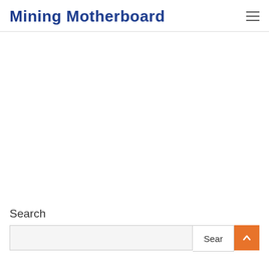Mining Motherboard
Search
Search input and Search button